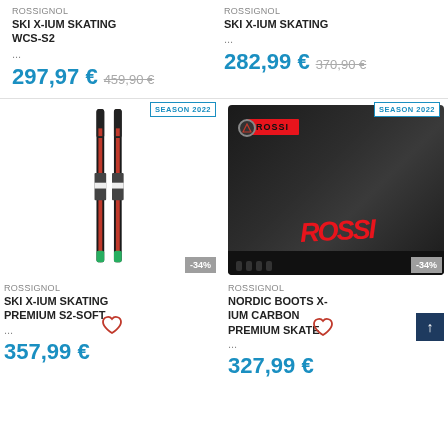ROSSIGNOL SKI X-IUM SKATING WCS-S2
...
297,97 € 459,90 €
ROSSIGNOL SKI X-IUM SKATING
...
282,99 € 370,90 €
[Figure (photo): Rossignol cross-country skis, red and black, Season 2022 badge, -34% discount badge]
ROSSIGNOL
SKI X-IUM SKATING PREMIUM S2-SOFT
...
357,99 €
[Figure (photo): Rossignol Nordic boots X-IUM Carbon Premium Skate, black and red, Season 2022 badge, -34% discount badge]
ROSSIGNOL
NORDIC BOOTS X-IUM CARBON PREMIUM SKATE
...
327,99 €